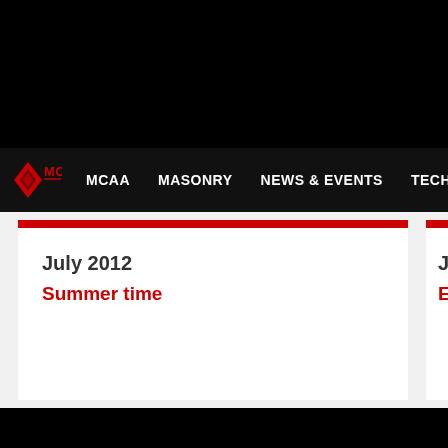MCAA | MASONRY | NEWS & EVENTS | TECHNICAL | ADVO...
July 2012
Summer time
June 2012
Exciting ti...